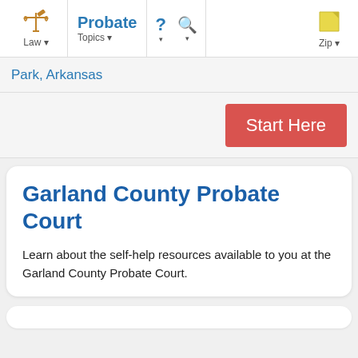Law | Probate | Topics | ? | Search | Zip
Park, Arkansas
Start Here
Garland County Probate Court
Learn about the self-help resources available to you at the Garland County Probate Court.